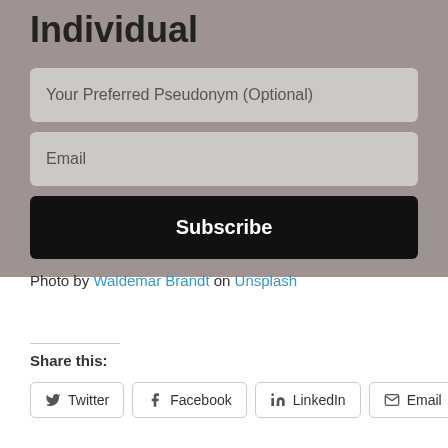Individual
Your Preferred Pseudonym (Optional)
Email
Subscribe
Photo by Waldemar Brandt on Unsplash
Share this:
Twitter
Facebook
LinkedIn
Email